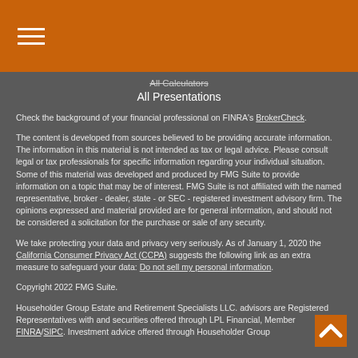Navigation header with hamburger menu
All Calculators
All Presentations
Check the background of your financial professional on FINRA's BrokerCheck.
The content is developed from sources believed to be providing accurate information. The information in this material is not intended as tax or legal advice. Please consult legal or tax professionals for specific information regarding your individual situation. Some of this material was developed and produced by FMG Suite to provide information on a topic that may be of interest. FMG Suite is not affiliated with the named representative, broker - dealer, state - or SEC - registered investment advisory firm. The opinions expressed and material provided are for general information, and should not be considered a solicitation for the purchase or sale of any security.
We take protecting your data and privacy very seriously. As of January 1, 2020 the California Consumer Privacy Act (CCPA) suggests the following link as an extra measure to safeguard your data: Do not sell my personal information.
Copyright 2022 FMG Suite.
Householder Group Estate and Retirement Specialists LLC. advisors are Registered Representatives with and securities offered through LPL Financial, Member FINRA/SIPC. Investment advice offered through Householder Group